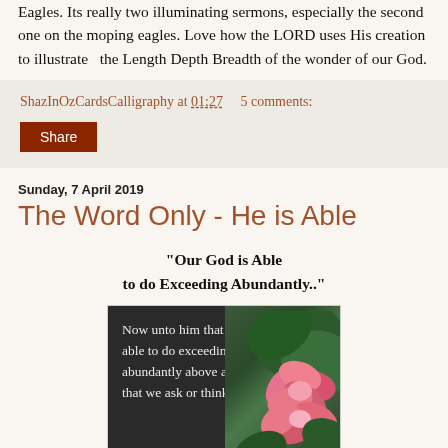Eagles. Its really two illuminating sermons, especially the second one on the moping eagles. Love how the LORD uses His creation to illustrate  the Length Depth Breadth of the wonder of our God.
ShazInOzCardsCalligraphy at 01:27    5 comments:
Share
Sunday, 7 April 2019
The Word Only - He is Able
"Our God is Able to do Exceeding Abundantly.."
[Figure (photo): Dark background scripture image with pink/red flowers and green leaves. Text reads: 'Now unto him that is able to do exceeding abundantly above all that we ask or think,']